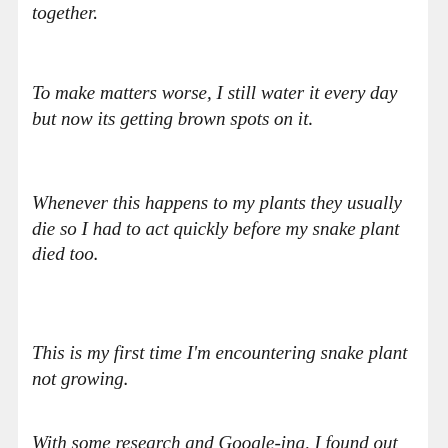together.
To make matters worse, I still water it every day but now its getting brown spots on it.
Whenever this happens to my plants they usually die so I had to act quickly before my snake plant died too.
This is my first time I'm encountering snake plant not growing.
With some research and Google-ing, I found out that there is something called nitrogen deficiency...
...which means you might not be giving your plant enough nutrients.
[Figure (screenshot): Video player overlay showing 'My snake plant...' title with 'No compatible source was found for this media.' error message and a play button, with subtitle 'Don't be sad, in here you will know why!' and a plant thumbnail in corner. Close X button visible.]